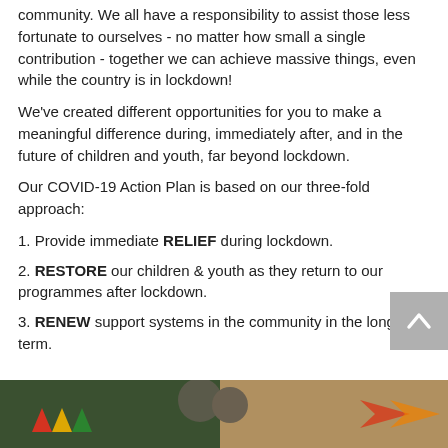community. We all have a responsibility to assist those less fortunate to ourselves - no matter how small a single contribution - together we can achieve massive things, even while the country is in lockdown!
We've created different opportunities for you to make a meaningful difference during, immediately after, and in the future of children and youth, far beyond lockdown.
Our COVID-19 Action Plan is based on our three-fold approach:
1. Provide immediate RELIEF during lockdown.
2. RESTORE our children & youth as they return to our programmes after lockdown.
3. RENEW support systems in the community in the long-term.
[Figure (photo): Bottom strip showing a logo and people, partial photo at the bottom of the page]